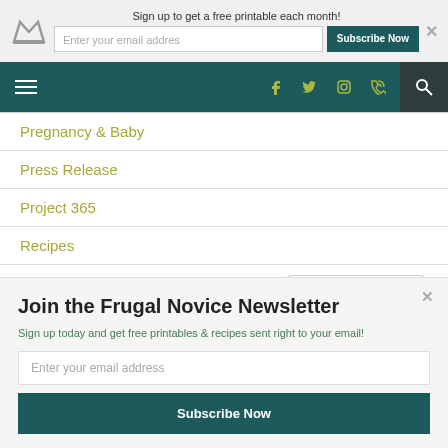Sign up to get a free printable each month!
[Figure (screenshot): Navigation bar with hamburger menu, social icons (Facebook, Twitter, Instagram, RSS), and search icon on dark teal background]
Pregnancy & Baby
Press Release
Project 365
Recipes
Reviews
POWERED BY SUMO
Join the Frugal Novice Newsletter
Sign up today and get free printables & recipes sent right to your email!